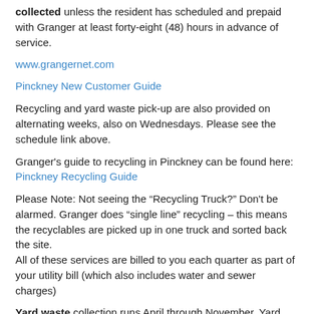collected unless the resident has scheduled and prepaid with Granger at least forty-eight (48) hours in advance of service.
www.grangernet.com
Pinckney New Customer Guide
Recycling and yard waste pick-up are also provided on alternating weeks, also on Wednesdays. Please see the schedule link above.
Granger's guide to recycling in Pinckney can be found here: Pinckney Recycling Guide
Please Note: Not seeing the “Recycling Truck?” Don't be alarmed. Granger does “single line” recycling – this means the recyclables are picked up in one truck and sorted back the site.
All of these services are billed to you each quarter as part of your utility bill (which also includes water and sewer charges)
Yard waste collection runs April through November. Yard debris must be bagged in brown paper bags or in the paper yard waste bags available at most hardware stores.   Please use this service for small twigs and yard debris. Curbside